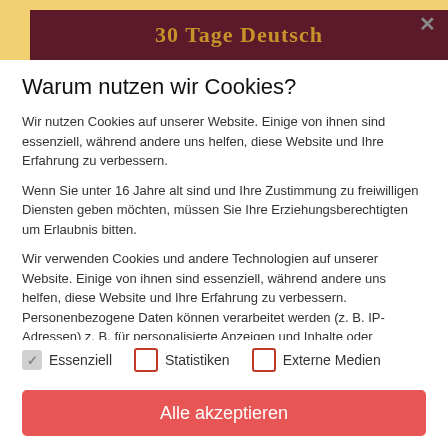[Figure (screenshot): Top banner with yellow background and partial page content visible]
30 Tage Deutsch
Warum nutzen wir Cookies?
Wir nutzen Cookies auf unserer Website. Einige von ihnen sind essenziell, während andere uns helfen, diese Website und Ihre Erfahrung zu verbessern.
Wenn Sie unter 16 Jahre alt sind und Ihre Zustimmung zu freiwilligen Diensten geben möchten, müssen Sie Ihre Erziehungsberechtigten um Erlaubnis bitten.
Wir verwenden Cookies und andere Technologien auf unserer Website. Einige von ihnen sind essenziell, während andere uns helfen, diese Website und Ihre Erfahrung zu verbessern. Personenbezogene Daten können verarbeitet werden (z. B. IP-Adressen) z. B. für personalisierte Anzeigen und Inhalte oder
Essenziell
Statistiken
Externe Medien
Alle akzeptieren